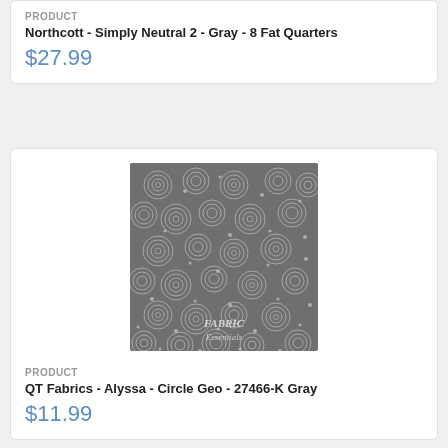PRODUCT
Northcott - Simply Neutral 2 - Gray - 8 Fat Quarters
$27.99
[Figure (photo): Gray fabric swatch with white swirling circle geo pattern, FABRIC Essentials watermark in bottom right corner]
PRODUCT
QT Fabrics - Alyssa - Circle Geo - 27466-K Gray
$11.99